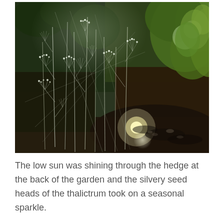[Figure (photo): Close-up garden photograph showing silvery dried seed heads of thalictrum plants with delicate branching stems, backlit by low winter sun shining through a hedge. Dark soil and green leafy hedge visible in background. Natural outdoor scene with warm sunlight creating a sparkle effect on the seed heads.]
The low sun was shining through the hedge at the back of the garden and the silvery seed heads of the thalictrum took on a seasonal sparkle.